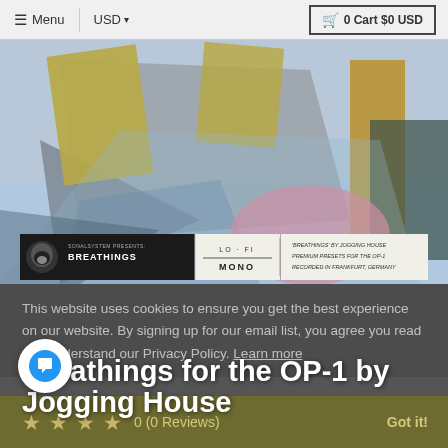☰ Menu  |  USD ▾  |  🛒 0 Cart $0 USD
[Figure (photo): Abstract art product image for 'Breathings for the OP-1 by Jogging House'. Shows geometric shapes in grey, yellow/olive, blue and pink on a light background. Bottom bar has SONALSYSTEM PRESENTS: BREATHINGS logo on left, LO-FI MONO in center, and 'BREATHINGS BY JOGGING HOUSE PREMIUM PRESETS FOR THE OP+1 RECORDED IN FRANKFURT, GERMANY' on right.]
This website uses cookies to ensure you get the best experience on our website. By signing up for our email list, you agree you read and understand our Privacy Policy. Learn more
Breathings for the OP-1 by Jogging House
★ ★ ★ ★  0 (0 Reviews)
$44.00